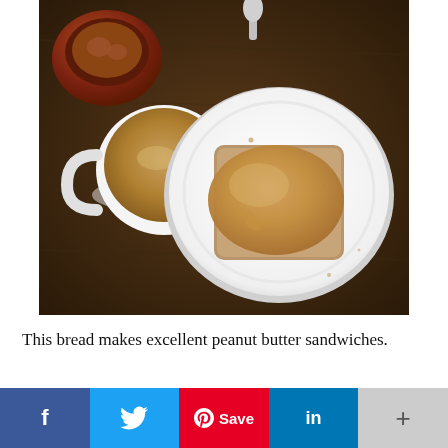[Figure (photo): Overhead view of a dark wooden table with a white plate holding a slice of whole grain toast spread with peanut butter, a white mug of coffee with cream, and a small bowl with brown contents in the upper left corner. A spoon is visible at the top.]
This bread makes excellent peanut butter sandwiches.
[Figure (infographic): Social sharing bar with five buttons: Facebook (blue, f icon), Twitter (light blue, bird icon), Pinterest (red, Save button with Pinterest icon), LinkedIn (dark blue, in icon), More (gray, + icon)]